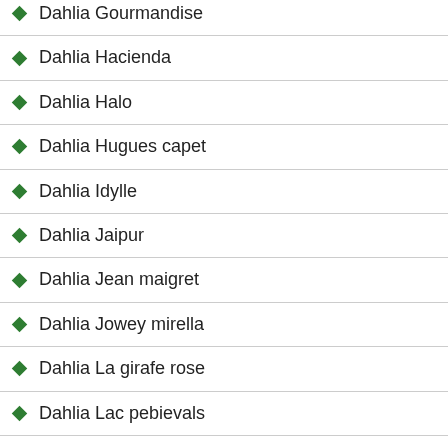Dahlia Gourmandise
Dahlia Hacienda
Dahlia Halo
Dahlia Hugues capet
Dahlia Idylle
Dahlia Jaipur
Dahlia Jean maigret
Dahlia Jowey mirella
Dahlia La girafe rose
Dahlia Lac pebievals